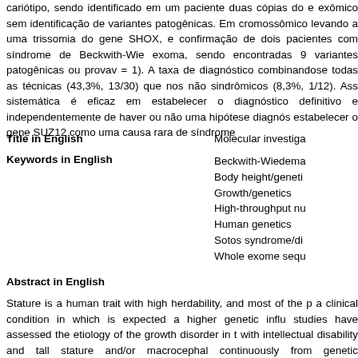cariótipo, sendo identificado em um paciente duas cópias do exômico sem identificação de variantes patogênicas. Em cromossômico levando a uma trissomia do gene SHOX, e confirmação de dois pacientes com síndrome de Beckwith-Wie exoma, sendo encontradas 9 variantes patogênicas ou provav = 1). A taxa de diagnóstico combinandose todas as técnicas (43,3%, 13/30) que nos não sindrômicos (8,3%, 1/12). Ass sistemática é eficaz em estabelecer o diagnóstico definitivo independentemente de haver ou não uma hipótese diagnós estabelecer o gene SUZ12 como uma causa rara de síndrome
Title in English
Molecular investiga
Keywords in English
Beckwith-Wiedema
Body height/geneti
Growth/genetics
High-throughput nu
Human genetics
Sotos syndrome/di
Whole exome sequ
Abstract in English
Stature is a human trait with high herdability, and most of the p a clinical condition in which is expected a higher genetic influ studies have assessed the etiology of the growth disorder in t with intellectual disability and tall stature and/or macrocephal continuously from genetic investigation as a state of